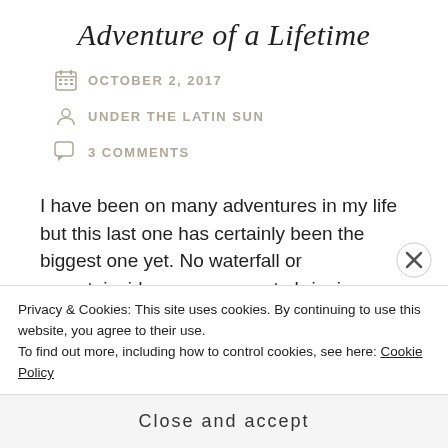Adventure of a Lifetime
OCTOBER 2, 2017
UNDER THE LATIN SUN
3 COMMENTS
I have been on many adventures in my life but this last one has certainly been the biggest one yet. No waterfall or mountainside can compare to bringing a child into the world, and I did just that! My beautiful baby was born two months ago on a summery July day and it is by far my most cherished  memory of them all. I went on a
Privacy & Cookies: This site uses cookies. By continuing to use this website, you agree to their use.
To find out more, including how to control cookies, see here: Cookie Policy
Close and accept